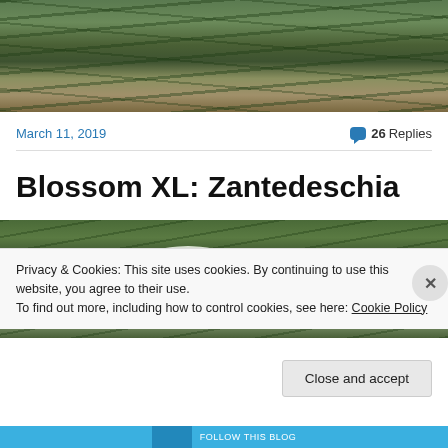[Figure (photo): Top photo showing green plants/grass with dry leaves on ground]
March 11, 2019
26 Replies
Blossom XL: Zantedeschia
[Figure (photo): Photo of Zantedeschia (calla lily) with white spathe and yellow spadix among green grass]
Privacy & Cookies: This site uses cookies. By continuing to use this website, you agree to their use.
To find out more, including how to control cookies, see here: Cookie Policy
Close and accept